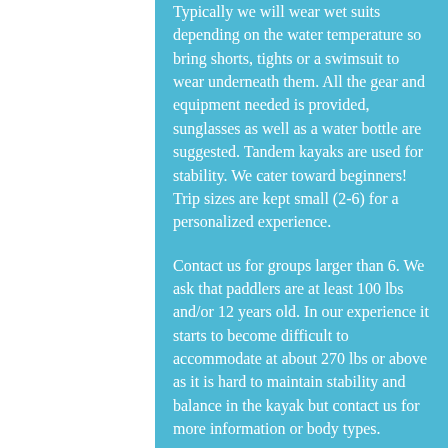Typically we will wear wet suits depending on the water temperature so bring shorts, tights or a swimsuit to wear underneath them.  All the gear and equipment needed is provided, sunglasses as well as a water bottle are suggested. Tandem kayaks are used for stability. We cater toward beginners! Trip sizes are kept small (2-6) for a personalized experience.
Contact us for groups larger than 6. We ask that paddlers are at least 100 lbs and/or 12 years old. In our experience it starts to become difficult to accommodate at about 270 lbs or above as it is hard to maintain stability and balance in the kayak but contact us for more information or body types.
[Figure (map): A map view showing a coastal area with a red kayak route drawn on the water. Land mass visible on the right with green area, blue-purple water on the left.]